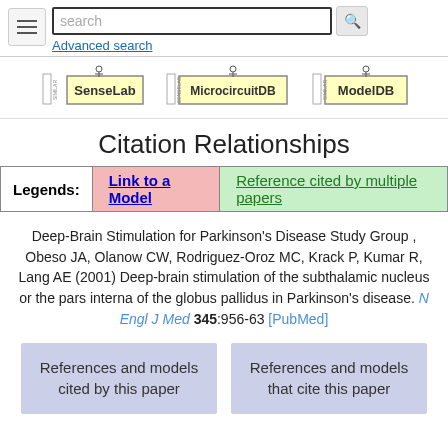search | Advanced search
[Figure (logo): SenseLab, MicrocircuitDB, and ModelDB logos]
Citation Relationships
| Legends: | Link to a Model | Reference cited by multiple papers |
| --- | --- | --- |
Deep-Brain Stimulation for Parkinson's Disease Study Group , Obeso JA, Olanow CW, Rodriguez-Oroz MC, Krack P, Kumar R, Lang AE (2001) Deep-brain stimulation of the subthalamic nucleus or the pars interna of the globus pallidus in Parkinson's disease. N Engl J Med 345:956-63 [PubMed]
References and models cited by this paper
References and models that cite this paper